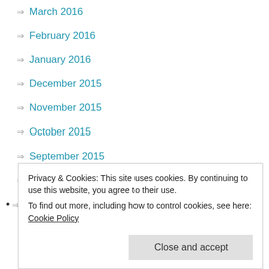March 2016
February 2016
January 2016
December 2015
November 2015
October 2015
September 2015
August 2015
July 2015
Privacy & Cookies: This site uses cookies. By continuing to use this website, you agree to their use.
To find out more, including how to control cookies, see here: Cookie Policy
Close and accept